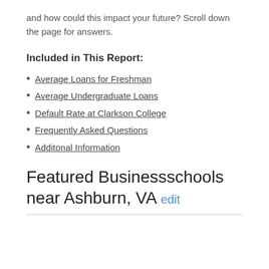and how could this impact your future? Scroll down the page for answers.
Included in This Report:
Average Loans for Freshman
Average Undergraduate Loans
Default Rate at Clarkson College
Frequently Asked Questions
Additonal Information
Featured Businessschools near Ashburn, VA edit